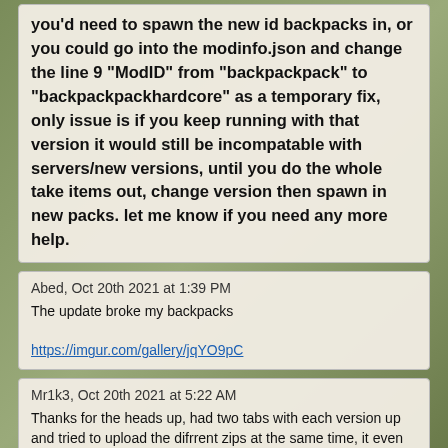you'd need to spawn the new id backpacks in, or you could go into the modinfo.json and change the line 9 "ModID" from "backpackpack" to "backpackpackhardcore" as a temporary fix, only issue is if you keep running with that version it would still be incompatable with servers/new versions, until you do the whole take items out, change version then spawn in new packs. let me know if you need any more help.
Abed, Oct 20th 2021 at 1:39 PM
The update broke my backpacks
https://imgur.com/gallery/jqYO9pC
Mr1k3, Oct 20th 2021 at 5:22 AM
Thanks for the heads up, had two tabs with each version up and tried to upload the difrrent zips at the same time, it even showed up in the files so it must be a quirk with the moddb.